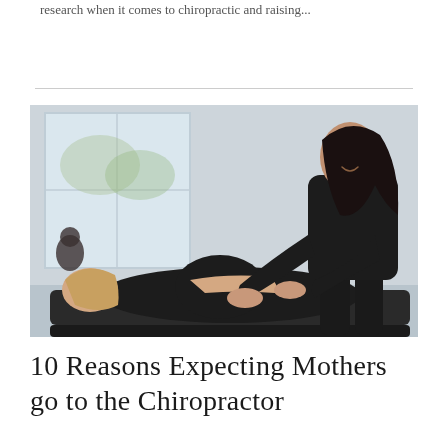research when it comes to chiropractic and raising...
[Figure (photo): A chiropractor (standing, wearing black) performs a treatment on a pregnant woman (lying on her back on a treatment table, wearing black). The chiropractor is smiling and placing hands on the patient's abdomen. Background shows a bright window and soft decor.]
10 Reasons Expecting Mothers go to the Chiropractor